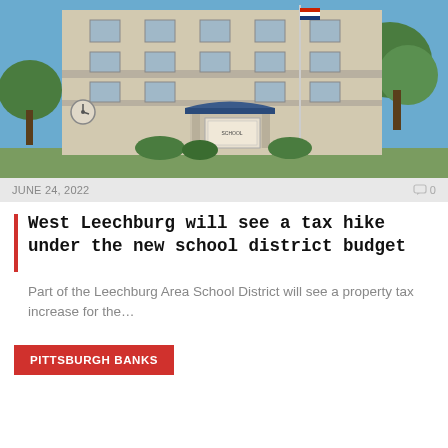[Figure (photo): Exterior photo of a school building with beige/tan brick facade, multiple windows, a blue canopy entrance, a flagpole, and trees. Clear blue sky visible.]
JUNE 24, 2022
0
West Leechburg will see a tax hike under the new school district budget
Part of the Leechburg Area School District will see a property tax increase for the…
PITTSBURGH BANKS